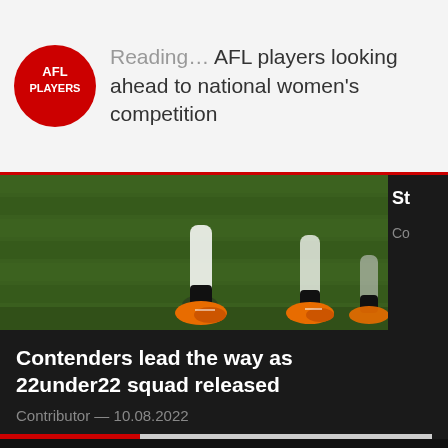Reading… AFL players looking ahead to national women's competition
[Figure (photo): Photo of AFL players' legs and feet with orange cleats on a green grass football field]
Contenders lead the way as 22under22 squad released
Contributor — 10.08.2022
[Figure (infographic): Footer with social media icons: Facebook, Instagram, Twitter, YouTube]
AFLPA
Home
Players
COMPANY
About Us
Partners